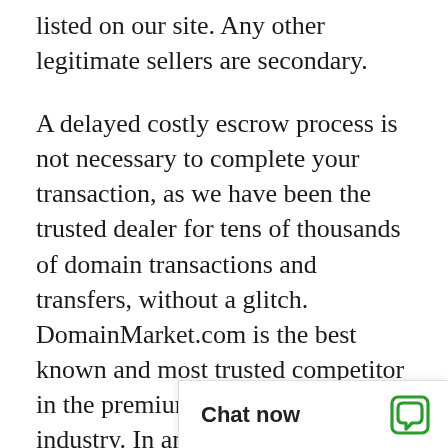listed on our site. Any other legitimate sellers are secondary.
A delayed costly escrow process is not necessary to complete your transaction, as we have been the trusted dealer for tens of thousands of domain transactions and transfers, without a glitch. DomainMarket.com is the best known and most trusted competitor in the premium domain name industry. In any event, if it makes you feel even more comfortable, Escrow.com is a purchase option for large transactions.
The asking price for AppointedTime.com is based on a careful and professional appraisal by the world's leading experts on domain valuations, the inventors of ecommerce for premi... explicitly certified to b...